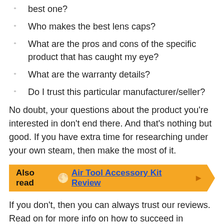best one?
Who makes the best lens caps?
What are the pros and cons of the specific product that has caught my eye?
What are the warranty details?
Do I trust this particular manufacturer/seller?
No doubt, your questions about the product you're interested in don't end there. And that's nothing but good. If you have extra time for researching under your own steam, then make the most of it.
Also read 🌕 Air Tool Accessory Kit Review ▶
If you don't, then you can always trust our reviews. Read on for more info on how to succeed in investigating the